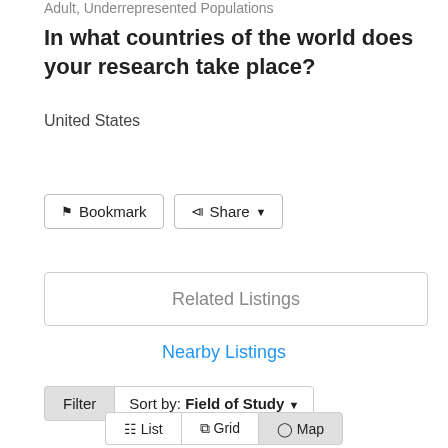Adult, Underrepresented Populations
In what countries of the world does your research take place?
United States
Bookmark
Share
Related Listings
Nearby Listings
Filter   Sort by: Field of Study ▾
☰ List   ⊞ Grid   ◎ Map